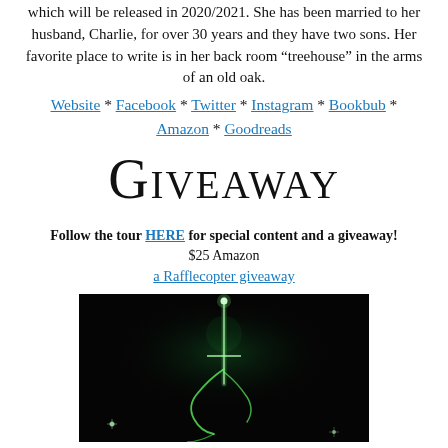which will be released in 2020/2021. She has been married to her husband, Charlie, for over 30 years and they have two sons. Her favorite place to write is in her back room “treehouse” in the arms of an old oak.
Website * Facebook * Twitter * Instagram * Bookbub * Amazon * Goodreads
Giveaway
Follow the tour HERE for special content and a giveaway!
$25 Amazon
a Rafflecopter giveaway
[Figure (illustration): Dark background with a glowing green fantasy sword/plant illustration with light sparkles]